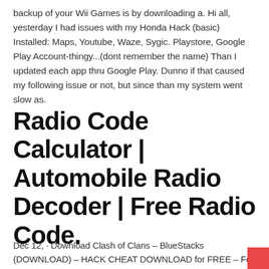backup of your Wii Games is by downloading a. Hi all, yesterday I had issues with my Honda Hack (basic) Installed: Maps, Youtube, Waze, Sygic. Playstore, Google Play Account-thingy...(dont remember the name) Than I updated each app thru Google Play. Dunno if that caused my following issue or not, but since than my system went slow as.
Radio Code Calculator | Automobile Radio Decoder | Free Radio Code.
Dec 12, · Download Clash of Clans – BlueStacks (DOWNLOAD) – HACK CHEAT DOWNLOAD for FREE – Fo